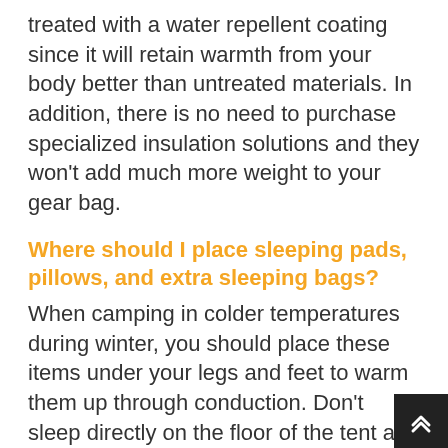treated with a water repellent coating since it will retain warmth from your body better than untreated materials. In addition, there is no need to purchase specialized insulation solutions and they won't add much more weight to your gear bag.
Where should I place sleeping pads, pillows, and extra sleeping bags?
When camping in colder temperatures during winter, you should place these items under your legs and feet to warm them up through conduction. Don't sleep directly on the floor of the tent as it will force warmth outside instead of inside where it is neede